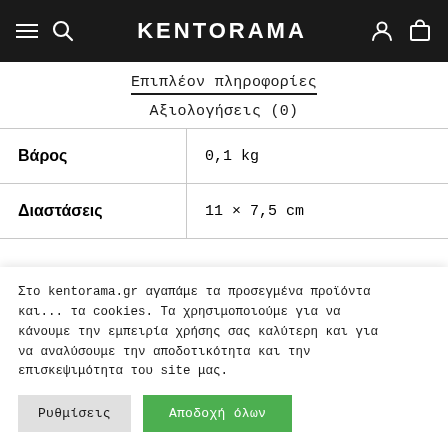KENTORAMA
Επιπλέον πληροφορίες
Αξιολογήσεις (0)
| Βάρος | 0,1 kg |
| Διαστάσεις | 11 × 7,5 cm |
Στο kentorama.gr αγαπάμε τα προσεγμένα προϊόντα και... τα cookies. Τα χρησιμοποιούμε για να κάνουμε την εμπειρία χρήσης σας καλύτερη και για να αναλύσουμε την αποδοτικότητα και την επισκεψιμότητα του site μας.
Ρυθμίσεις | Αποδοχή όλων